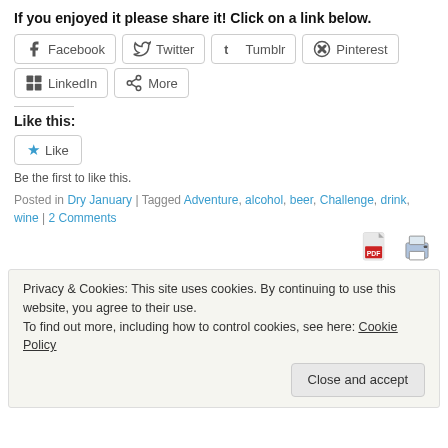If you enjoyed it please share it! Click on a link below.
[Figure (other): Social share buttons: Facebook, Twitter, Tumblr, Pinterest, LinkedIn, More]
Like this:
[Figure (other): Like button with star icon]
Be the first to like this.
Posted in Dry January | Tagged Adventure, alcohol, beer, Challenge, drink, wine | 2 Comments
[Figure (other): PDF download icon and Print icon]
Privacy & Cookies: This site uses cookies. By continuing to use this website, you agree to their use. To find out more, including how to control cookies, see here: Cookie Policy
Close and accept